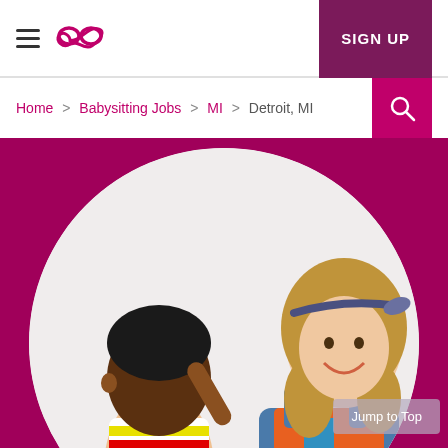≡ ∞∞  SIGN UP
Home > Babysitting Jobs > MI > Detroit, MI
[Figure (photo): A young child in a colorful striped shirt looking up at a smiling woman with long curly hair wearing denim overalls, set against a white circular background on a magenta/crimson background.]
Jump to Top